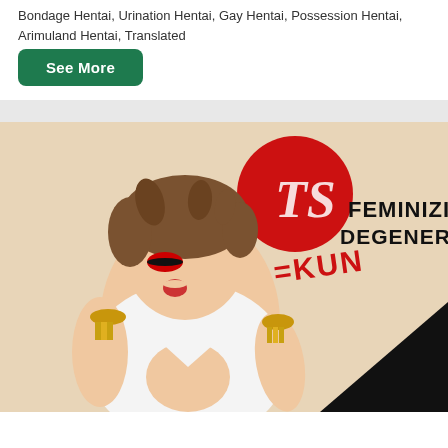Bondage Hentai, Urination Hentai, Gay Hentai, Possession Hentai, Arimuland Hentai, Translated
See More
[Figure (illustration): Manga/anime style cover illustration titled 'TS Feminizing Degeneration Idol-kun' showing an anime character with brown hair in a white uniform top, with red circle logo and stylized black and red text overlay.]